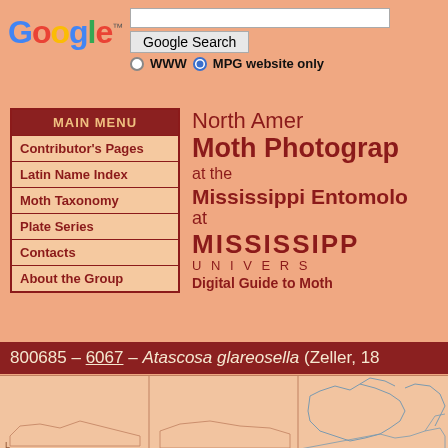[Figure (logo): Google logo in multicolor letters with trademark symbol]
[Figure (screenshot): Search bar with Google Search button and radio buttons for WWW and MPG website only]
Contributor's Pages
Latin Name Index
Moth Taxonomy
Plate Series
Contacts
About the Group
North American Moth Photographers Group at the Mississippi Entomological Museum at MISSISSIPPI STATE UNIVERSITY Digital Guide to Moth
800685 – 6067 – Atascosa glareosella (Zeller, 18...
[Figure (map): Partial map showing North American species distribution]